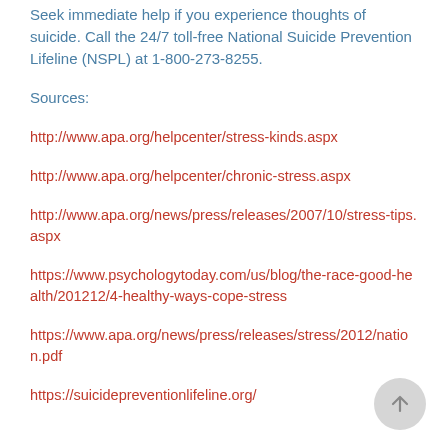Seek immediate help if you experience thoughts of suicide. Call the 24/7 toll-free National Suicide Prevention Lifeline (NSPL) at 1-800-273-8255.
Sources:
http://www.apa.org/helpcenter/stress-kinds.aspx
http://www.apa.org/helpcenter/chronic-stress.aspx
http://www.apa.org/news/press/releases/2007/10/stress-tips.aspx
https://www.psychologytoday.com/us/blog/the-race-good-health/201212/4-healthy-ways-cope-stress
https://www.apa.org/news/press/releases/stress/2012/nation.pdf
https://suicidepreventionlifeline.org/